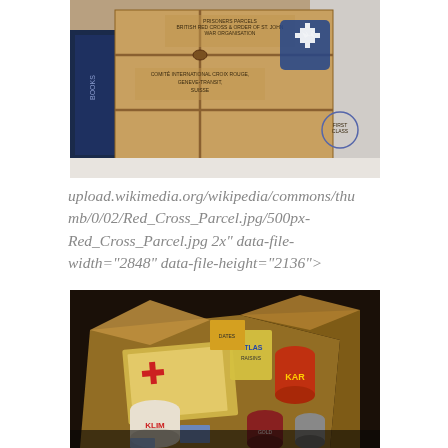[Figure (photo): A WWII-era Red Cross prisoner parcel package wrapped in brown paper and tied with string, labeled 'PRISONERS PARCELS BRITISH RED CROSS & ORDER OF ST. JOHN WAR ORGANISATION' and 'COMITÉ INTERNATIONAL CROIX ROUGE, GENEVE-TRANSIT, SUISSE' with a St. John cross emblem.]
upload.wikimedia.org/wikipedia/commons/thumb/0/02/Red_Cross_Parcel.jpg/500px-Red_Cross_Parcel.jpg 2x" data-file-width="2848" data-file-height="2136">
[Figure (photo): A painting depicting the contents of a Red Cross parcel spread open in a box, showing canned goods including KLIM brand, ATLAS raisins, and KAR brand cans, along with a Red Cross envelope/document and various food packages.]